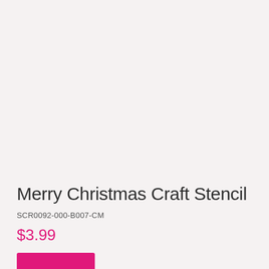[Figure (photo): Product image area showing a light pinkish-beige textured background where the product photo would appear]
Merry Christmas Craft Stencil
SCR0092-000-B007-CM
$3.99